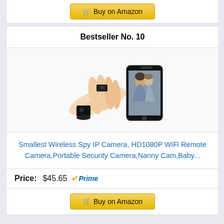[Figure (other): Buy on Amazon button (partial, from previous product listing)]
Bestseller No. 10
[Figure (photo): Product photo showing a tiny spy camera held between fingers, a small black cube camera on a stand, and a smartphone displaying a couple kissing]
Smallest Wireless Spy IP Camera, HD1080P WiFi Remote Camera,Portable Security Camera,Nanny Cam,Baby...
Price: $45.65 ✓Prime
[Figure (other): Buy on Amazon button]